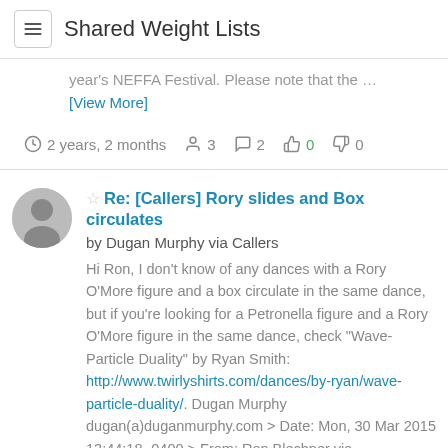Shared Weight Lists
year's NEFFA Festival. Please note that the …
[View More]
2 years, 2 months  3  2  0  0
Re: [Callers] Rory slides and Box circulates
by Dugan Murphy via Callers
Hi Ron, I don't know of any dances with a Rory O'More figure and a box circulate in the same dance, but if you're looking for a Petronella figure and a Rory O'More figure in the same dance, check "Wave-Particle Duality" by Ryan Smith: http://www.twirlyshirts.com/dances/by-ryan/wave-particle-duality/. Dugan Murphy dugan(a)duganmurphy.com > Date: Mon, 30 Mar 2015 13:44:18 -0400 > From: Ron Blechner via Callers...